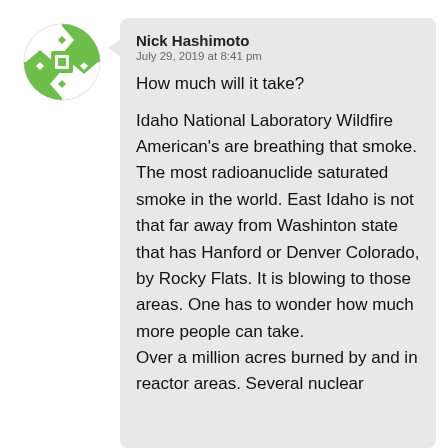[Figure (illustration): Green and white decorative avatar/profile icon with geometric diamond and square pattern]
Nick Hashimoto
July 29, 2019 at 8:41 pm
How much will it take?
Idaho National Laboratory Wildfire American's are breathing that smoke. The most radioanuclide saturated smoke in the world. East Idaho is not that far away from Washinton state that has Hanford or Denver Colorado, by Rocky Flats. It is blowing to those areas. One has to wonder how much more people can take.
Over a million acres burned by and in reactor areas. Several nuclear